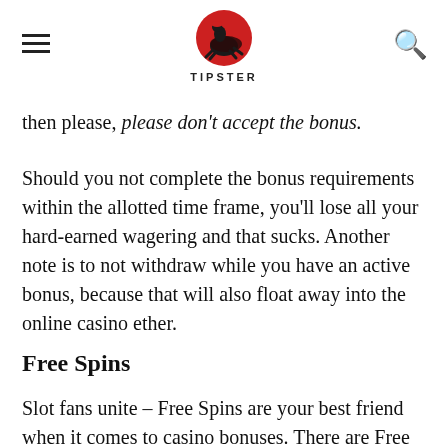TIPSTER
then please, please don't accept the bonus.
Should you not complete the bonus requirements within the allotted time frame, you'll lose all your hard-earned wagering and that sucks. Another note is to not withdraw while you have an active bonus, because that will also float away into the online casino ether.
Free Spins
Slot fans unite – Free Spins are your best friend when it comes to casino bonuses. There are  Free Spins no deposit slot games available to players to try out new games too. You heard us correctly – no deposit, but of course you'll need to complete the